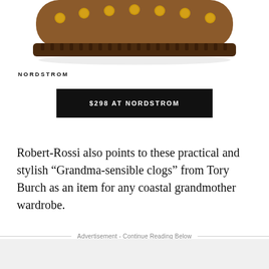[Figure (photo): Bottom portion of a brown leather clog shoe with gold studs on the strap and a dark ridged sole, photographed on white background.]
NORDSTROM
$298 AT NORDSTROM
Robert-Rossi also points to these practical and stylish “Grandma-sensible clogs” from Tory Burch as an item for any coastal grandmother wardrobe.
Advertisement - Continue Reading Below